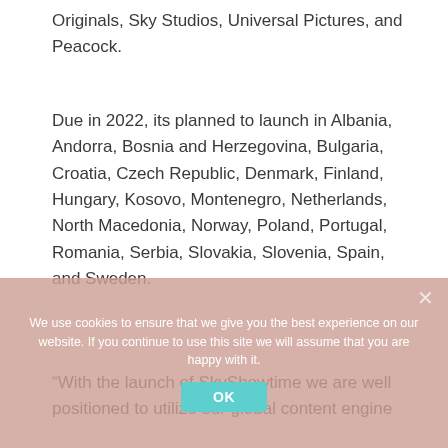Originals, Sky Studios, Universal Pictures, and Peacock.
Due in 2022, its planned to launch in Albania, Andorra, Bosnia and Herzegovina, Bulgaria, Croatia, Czech Republic, Denmark, Finland, Hungary, Kosovo, Montenegro, Netherlands, North Macedonia, Norway, Poland, Portugal, Romania, Serbia, Slovakia, Slovenia, Spain, and Sweden.
All of the countries listed are outside of Sky's major markets of the UK & Ireland, Germany & Austria and Italy.
We use cookies to ensure that we give you the best experience on our website. If you continue to use this site we will assume that you are happy with it.
“With the launch of SkyShowtime we are well positioned to utilize our global content engine